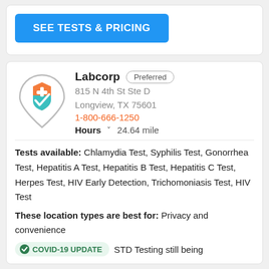SEE TESTS & PRICING
[Figure (logo): Location pin icon with orange shield and teal checkmark inside]
Labcorp Preferred
815 N 4th St Ste D
Longview, TX 75601
1-800-666-1250
Hours  24.64 mile
Tests available: Chlamydia Test, Syphilis Test, Gonorrhea Test, Hepatitis A Test, Hepatitis B Test, Hepatitis C Test, Herpes Test, HIV Early Detection, Trichomoniasis Test, HIV Test
These location types are best for: Privacy and convenience
COVID-19 UPDATE  STD Testing still being